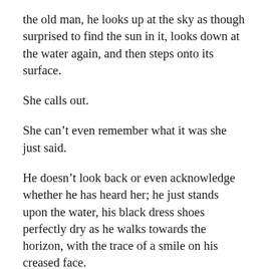the old man, he looks up at the sky as though surprised to find the sun in it, looks down at the water again, and then steps onto its surface.
She calls out.
She can't even remember what it was she just said.
He doesn't look back or even acknowledge whether he has heard her; he just stands upon the water, his black dress shoes perfectly dry as he walks towards the horizon, with the trace of a smile on his creased face.
She doesn't understand why she feels a sudden sense of loss. Or why she feels it so keenly. And it is a loss, because she is now certain that this